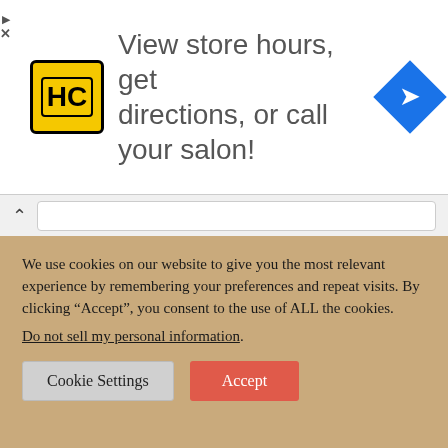[Figure (other): Advertisement banner with HC logo (yellow square with HC text), text 'View store hours, get directions, or call your salon!', and a blue navigation diamond icon on the right. Ad controls (play and close) on the left.]
[Figure (other): Browser navigation bar with an up caret and a white URL input field.]
Fun & Fabulous
[Figure (photo): Fashion clothing photo showing a pink/mauve top with gold chain detail, a gray bag, and an orange/coral hat.]
We use cookies on our website to give you the most relevant experience by remembering your preferences and repeat visits. By clicking “Accept”, you consent to the use of ALL the cookies.
Do not sell my personal information.
Cookie Settings
Accept